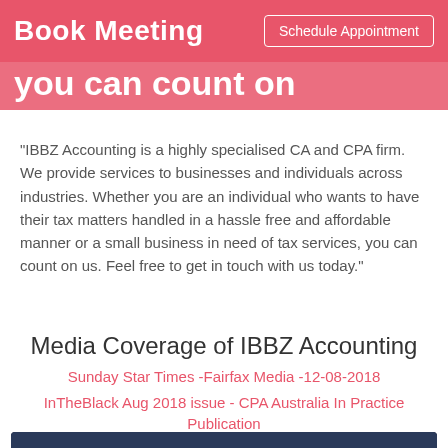Book Meeting | Schedule Appointment
you can count on
"IBBZ Accounting is a highly specialised CA and CPA firm. We provide services to businesses and individuals across industries. Whether you are an individual who wants to have their tax matters handled in a hassle free and affordable manner or a small business in need of tax services, you can count on us. Feel free to get in touch with us today."
Media Coverage of IBBZ Accounting
Sunday Star Times -Fairfax Media -12-08-2018
InTheBlack Aug 2018 issue - CPA Australia In Practice Publication
[Figure (screenshot): YouTube video thumbnail for IBBZ Accounting Customer Servic... with IBBZ Accounting logo on the left]